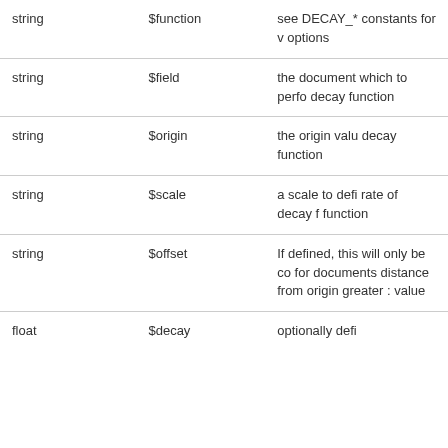|  |  |  |
| --- | --- | --- |
| string | $function | see DECAY_* constants for v options |
| string | $field | the document which to perfo decay function |
| string | $origin | the origin valu decay function |
| string | $scale | a scale to defi rate of decay f function |
| string | $offset | If defined, this will only be co for documents distance from origin greater : value |
| float | $decay | optionally defi |